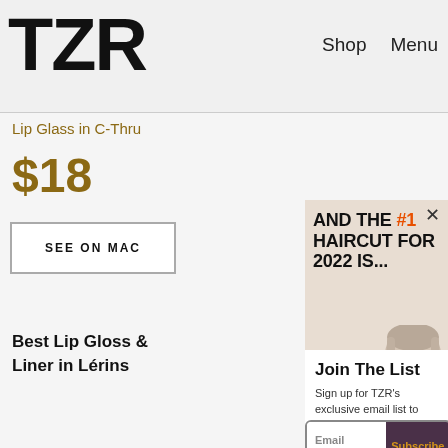TZR   Shop   Menu
Lip Glass in C-Thru
$18
[Figure (screenshot): Ad banner overlay showing 'AND THE #1 HAIRCUT FOR 2022 IS...' with a woman's face photo on a beige background, with a close (x) button]
SEE ON MAC
Best Lip Gloss &
Liner in Lérins
Join The List
Sign up for TZR's exclusive email list to uncover this season's top trends
Email address   Subscribe